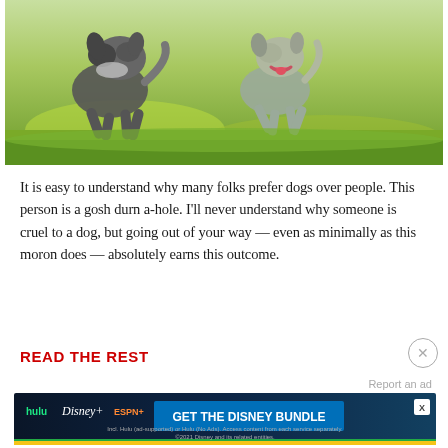[Figure (photo): Two dogs running on green grass, one dark/grey fluffy dog on the left and one lighter grey dog on the right, both appear playful and energetic]
It is easy to understand why many folks prefer dogs over people. This person is a gosh durn a-hole. I'll never understand why someone is cruel to a dog, but going out of your way — even as minimally as this moron does — absolutely earns this outcome.
READ THE REST
[Figure (screenshot): Disney Bundle advertisement banner showing Hulu, Disney+, and ESPN+ logos with 'GET THE DISNEY BUNDLE' call to action button on dark blue background. Fine print: Incl. Hulu (ad-supported) or Hulu (No Ads). Access content from each service separately. ©2021 Disney and its related entities.]